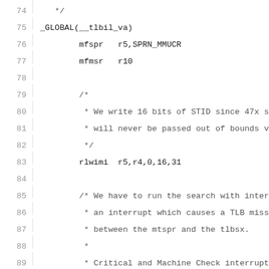74   */
75   _GLOBAL(__tlbil_va)
76           mfspr   r5,SPRN_MMUCR
77           mfmsr   r10
78
79           /*
80            * We write 16 bits of STID since 47x s
81            * will never be passed out of bounds v
82            */
83           rlwimi  r5,r4,0,16,31
84
85           /* We have to run the search with inter
86            * an interrupt which causes a TLB miss
87            * between the mtspr and the tlbsx.
88            *
89            * Critical and Machine Check interrupts
90            * and restoring MMUCR, so only normal
91            * taken care of.
92            */
93           wrteei  0
94           mtspr   SPRN_MMUCR,r5
95           tlbsx   r6,0,r3